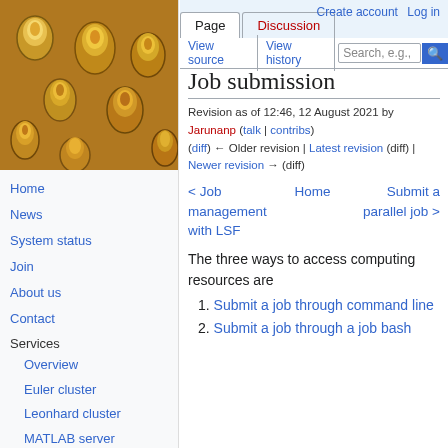Create account  Log in
[Figure (photo): Microscopic image of barnacles or coral polyps viewed from above, showing tubular structures with golden/yellow coloring]
Home
News
System status
Join
About us
Contact
Services
  Overview
  Euler cluster
  Leonhard cluster
  MATLAB server
  CLC genomics server
User documentation
Job submission
Revision as of 12:46, 12 August 2021 by Jarunanp (talk | contribs)
(diff) ← Older revision | Latest revision (diff) | Newer revision → (diff)
< Job management with LSF    Home    Submit a parallel job >
The three ways to access computing resources are
1. Submit a job through command line
2. Submit a job through a job bash